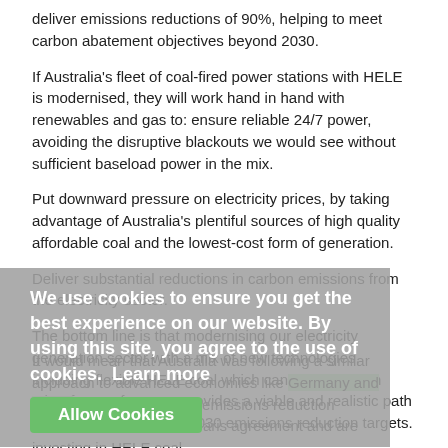deliver emissions reductions of 90%, helping to meet carbon abatement objectives beyond 2030.
If Australia's fleet of coal-fired power stations with HELE is modernised, they will work hand in hand with renewables and gas to: ensure reliable 24/7 power, avoiding the disruptive blackouts we would see without sufficient baseload power in the mix.
Put downward pressure on electricity prices, by taking advantage of Australia's plentiful sources of high quality affordable coal and the lowest-cost form of generation.
Deliver substantial reductions in carbon emissions from the electricity sector.
The bottom line is that modernising our electricity generation sector with a mix of new technologies, including flexible HELE coal which can integrate with other forms of energy, provides a viable and realistic path to achieving Australia's 2030 emissions reduction targets.
It would mean that Australia was following a similar approach to advanced economies like Germany and Japan, which have made emissions reduction commitments under the Paris agreement and are investing in HELE coal.